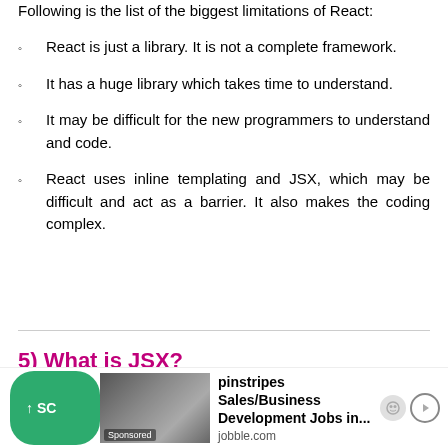Following is the list of the biggest limitations of React:
React is just a library. It is not a complete framework.
It has a huge library which takes time to understand.
It may be difficult for the new programmers to understand and code.
React uses inline templating and JSX, which may be difficult and act as a barrier. It also makes the coding complex.
5) What is JSX?
[Figure (screenshot): Advertisement banner for pinstripes Sales/Business Development Jobs via jobble.com with a green scroll-up button and a sponsored image thumbnail]